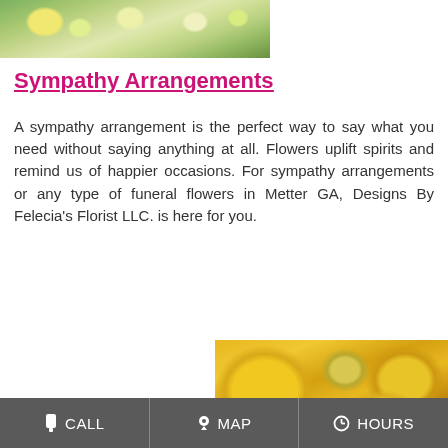[Figure (photo): Top portion of a floral arrangement with green and white/yellow flowers visible at the top of the page]
Sympathy Arrangements
A sympathy arrangement is the perfect way to say what you need without saying anything at all. Flowers uplift spirits and remind us of happier occasions. For sympathy arrangements or any type of funeral flowers in Metter GA, Designs By Felecia's Florist LLC. is here for you.
[Figure (photo): Close-up photo of yellow roses, sunflowers, and mixed yellow floral arrangement]
CALL   MAP   HOURS